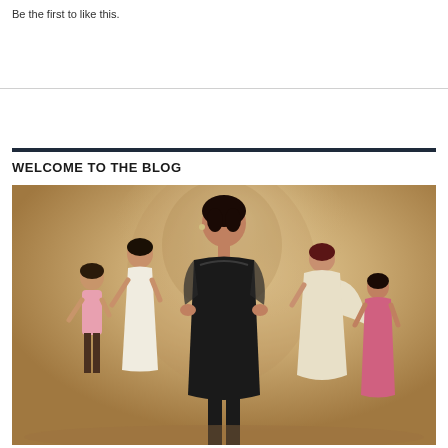Be the first to like this.
WELCOME TO THE BLOG
[Figure (photo): Promotional photo showing five women in elegant attire against a golden/sepia background. A central woman in a black dress stands prominently in the foreground with hands on hips. Four other women in various gowns (pink, white, cream, pink) are arranged behind and to the sides of her.]